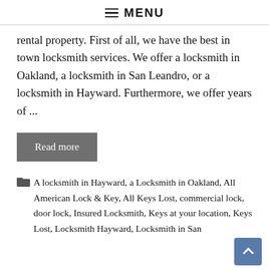≡ MENU
rental property. First of all, we have the best in town locksmith services. We offer a locksmith in Oakland, a locksmith in San Leandro, or a locksmith in Hayward. Furthermore, we offer years of ...
Read more
A locksmith in Hayward, a Locksmith in Oakland, All American Lock & Key, All Keys Lost, commercial lock, door lock, Insured Locksmith, Keys at your location, Keys Lost, Locksmith Hayward, Locksmith in San